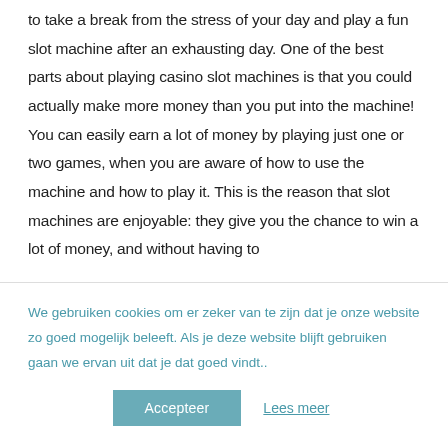to take a break from the stress of your day and play a fun slot machine after an exhausting day. One of the best parts about playing casino slot machines is that you could actually make more money than you put into the machine! You can easily earn a lot of money by playing just one or two games, when you are aware of how to use the machine and how to play it. This is the reason that slot machines are enjoyable: they give you the chance to win a lot of money, and without having to
We gebruiken cookies om er zeker van te zijn dat je onze website zo goed mogelijk beleeft. Als je deze website blijft gebruiken gaan we ervan uit dat je dat goed vindt..
Accepteer
Lees meer